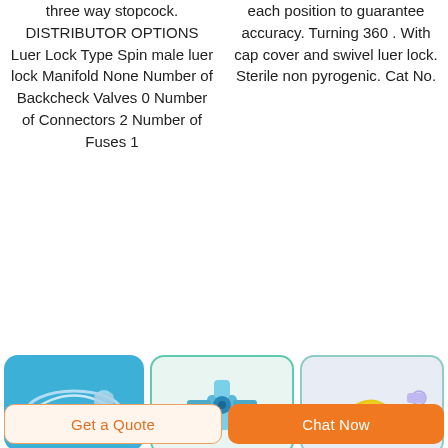three way stopcock. DISTRIBUTOR OPTIONS Luer Lock Type Spin male luer lock Manifold None Number of Backcheck Valves 0 Number of Connectors 2 Number of Fuses 1
each position to guarantee accuracy. Turning 360 . With cap cover and swivel luer lock. Sterile non pyrogenic. Cat No.
[Figure (photo): Medical catheter/tubing product on blue background]
[Figure (photo): Three-way stopcock medical device on light green/white background]
[Figure (photo): Yellow medical tubing/IV set on light blue-grey background]
Get a Quote
Chat Now